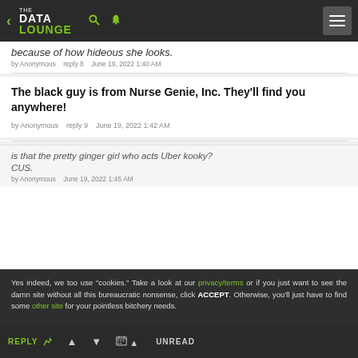THE DATA LOUNGE
because of how hideous she looks.
by Anonymous   reply 8   June 19, 2022 1:40 AM
The black guy is from Nurse Genie, Inc. They'll find you anywhere!
by Anonymous   reply 9   June 19, 2022 1:42 AM
is that the pretty ginger girl who acts Uber kooky? CUS.
by Anonymous   June 19, 2022 1:45 AM
Yes indeed, we too use "cookies." Take a look at our privacy/terms or if you just want to see the damn site without all this bureaucratic nonsense, click ACCEPT. Otherwise, you'll just have to find some other site for your pointless bitchery needs.
REPLY  ▲  ▼  📅 ▲  UNREAD